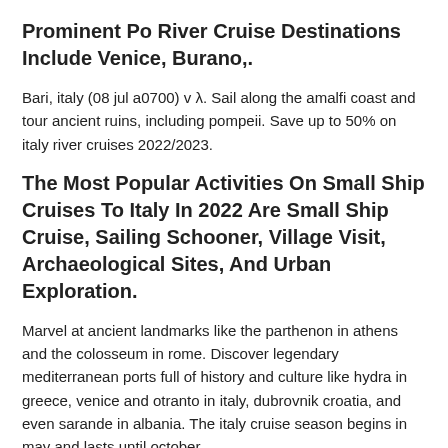Prominent Po River Cruise Destinations Include Venice, Burano,.
Bari, italy (08 jul a0700) v λ. Sail along the amalfi coast and tour ancient ruins, including pompeii. Save up to 50% on italy river cruises 2022/2023.
The Most Popular Activities On Small Ship Cruises To Italy In 2022 Are Small Ship Cruise, Sailing Schooner, Village Visit, Archaeological Sites, And Urban Exploration.
Marvel at ancient landmarks like the parthenon in athens and the colosseum in rome. Discover legendary mediterranean ports full of history and culture like hydra in greece, venice and otranto in italy, dubrovnik croatia, and even sarande in albania. The italy cruise season begins in may and lasts until october.